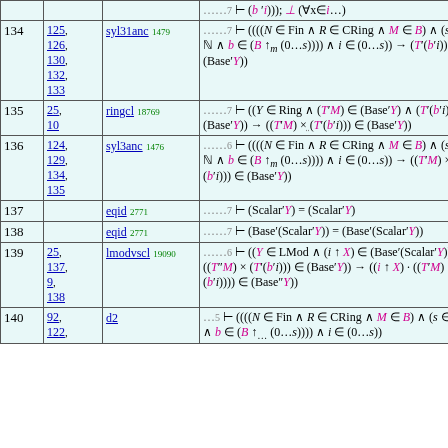| Step | Hyp | Ref | Expression |
| --- | --- | --- | --- |
| 134 | 125, 126, 130, 132, 133 | syl31anc 1479 | ......7 ⊢ ((((N ∈ Fin ∧ R ∈ CRing ∧ M ∈ B) ∧ (s ∈ ℕ ∧ b ∈ (B ↑m (0...s)))) ∧ i ∈ (0...s)) → (T'(b'i)) ∈ (Base'Y)) |
| 135 | 25, 10 | ringcl 18769 | ......7 ⊢ ((Y ∈ Ring ∧ (T'M) ∈ (Base'Y) ∧ (T'(b'i)) ∈ (Base'Y)) → ((T'M) × (T'(b'i))) ∈ (Base'Y)) |
| 136 | 124, 129, 134, 135 | syl3anc 1476 | .....6 ⊢ ((((N ∈ Fin ∧ R ∈ CRing ∧ M ∈ B) ∧ (s ∈ ℕ ∧ b ∈ (B ↑m (0...s)))) ∧ i ∈ (0...s)) → ((T'M) × (T'(b'i))) ∈ (Base'Y)) |
| 137 |  | eqid 2771 | ......7 ⊢ (Scalar'Y) = (Scalar'Y) |
| 138 |  | eqid 2771 | ......7 ⊢ (Base'(Scalar'Y)) = (Base'(Scalar'Y)) |
| 139 | 25, 137, 9, 138 | lmodvscl 19090 | .....6 ⊢ ((Y ∈ LMod ∧ (i ↑ X) ∈ (Base'(Scalar'Y)) ∧ ((T'M) × (T'(b'i))) ∈ (Base'Y)) → ((i ↑ X) · ((T'M) × (T'(b'i)))) ∈ (Base'Y)) |
| 140 | 92, 122, ... | d2... | ....5 ⊢ ((((N ∈ Fin ∧ R ∈ CRing ∧ M ∈ B) ∧ (s ∈ ℕ ∧ b ∈ (B ↑m (0...s)))) ∧ i ∈ (0...s)) |